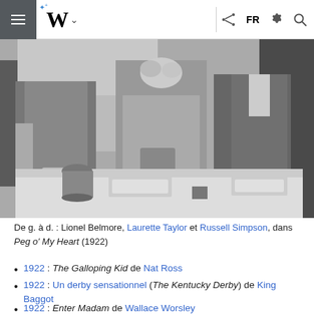Wikipedia mobile navigation bar with logo W, FR language, share, settings, search icons
[Figure (photo): Black and white photograph of three people standing around a table: Lionel Belmore (left), Laurette Taylor (center), and Russell Simpson (right), in a scene from Peg o' My Heart (1922).]
De g. à d. : Lionel Belmore, Laurette Taylor et Russell Simpson, dans Peg o' My Heart (1922)
1922 : The Galloping Kid de Nat Ross
1922 : Un derby sensationnel (The Kentucky Derby) de King Baggot
1922 : Enter Madam de Wallace Worsley
1922 : The Barnstormer de Charles Ray
1922 : The World's Champion de Phil Rosen